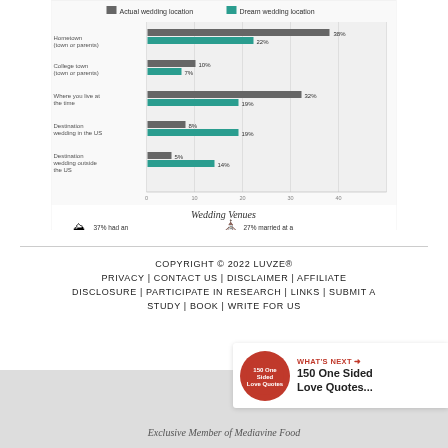[Figure (grouped-bar-chart): Horizontal grouped bar chart comparing actual vs dream wedding locations, plus Wedding Venues infographic section showing outdoor/church/indoor stats]
COPYRIGHT © 2022 LUVZE® PRIVACY | CONTACT US | DISCLAIMER | AFFILIATE DISCLOSURE | PARTICIPATE IN RESEARCH | LINKS | SUBMIT A STUDY | BOOK | WRITE FOR US
[Figure (infographic): Share button icon (circular with share symbol)]
[Figure (infographic): What's Next promo: 150 One Sided Love Quotes... with circular red book image]
Exclusive Member of Mediavine Food